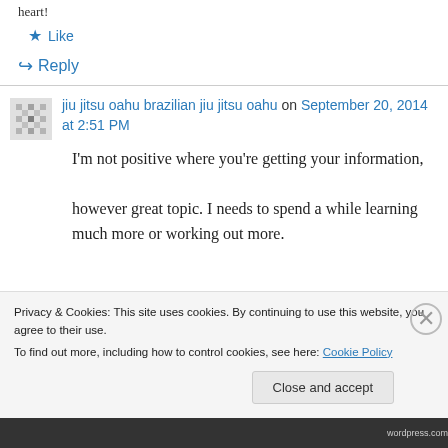heart!
★ Like
↪ Reply
jiu jitsu oahu brazilian jiu jitsu oahu on September 20, 2014 at 2:51 PM
I'm not positive where you're getting your information, however great topic. I needs to spend a while learning much more or working out more.
Privacy & Cookies: This site uses cookies. By continuing to use this website, you agree to their use. To find out more, including how to control cookies, see here: Cookie Policy
Close and accept